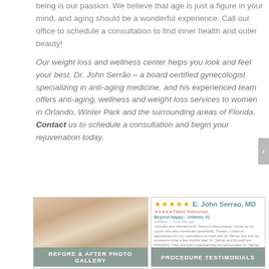being is our passion. We believe that age is just a figure in your mind, and aging should be a wonderful experience. Call our office to schedule a consultation to find inner health and outer beauty!
Our weight loss and wellness center helps you look and feel your best. Dr. John Serrão – a board certified gynecologist specializing in anti-aging medicine, and his experienced team offers anti-aging, wellness and weight loss services to women in Orlando, Winter Park and the surrounding areas of Florida. Contact us to schedule a consultation and begin your rejuvenation today.
[Figure (photo): Before and after photo gallery panel showing torso/body images with label BEFORE & AFTER PHOTO GALLERY]
[Figure (screenshot): Review panel showing 5 stars and E. John Serrao MD with patient testimonial text, labeled PROCEDURE TESTIMONIALS]